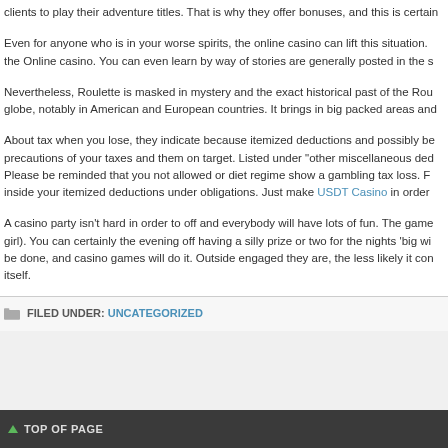clients to play their adventure titles. That is why they offer bonuses, and this is certain
Even for anyone who is in your worse spirits, the online casino can lift this situation. the Online casino. You can even learn by way of stories are generally posted in the s
Nevertheless, Roulette is masked in mystery and the exact historical past of the Rou globe, notably in American and European countries. It brings in big packed areas and
About tax when you lose, they indicate because itemized deductions and possibly be precautions of your taxes and them on target. Listed under “other miscellaneous ded Please be reminded that you not allowed or diet regime show a gambling tax loss. F inside your itemized deductions under obligations. Just make USDT Casino in order
A casino party isn't hard in order to off and everybody will have lots of fun. The game girl). You can certainly the evening off having a silly prize or two for the nights 'big wi be done, and casino games will do it. Outside engaged they are, the less likely it con itself.
FILED UNDER: UNCATEGORIZED
TOP OF PAGE